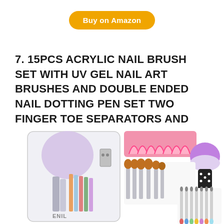Buy on Amazon
7. 15PCS ACRYLIC NAIL BRUSH SET WITH UV GEL NAIL ART BRUSHES AND DOUBLE ENDED NAIL DOTTING PEN SET TWO FINGER TOE SEPARATORS AND SOFT KABUKI BRUSH POWDER FOR NAIL ART DUST REMOVER
[Figure (photo): Product photo showing nail art brush set kit including acrylic brushes in a case, UV gel nail art brushes, dotting pens, pink toe separators, and a purple/white kabuki powder brush.]